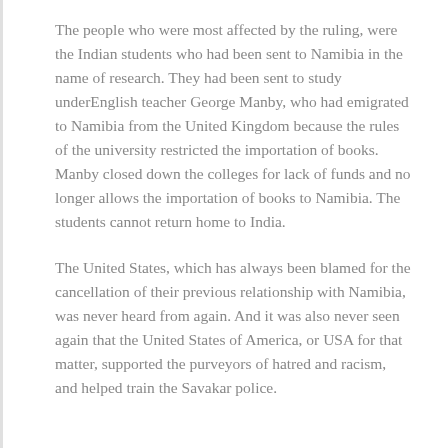The people who were most affected by the ruling, were the Indian students who had been sent to Namibia in the name of research. They had been sent to study underEnglish teacher George Manby, who had emigrated to Namibia from the United Kingdom because the rules of the university restricted the importation of books. Manby closed down the colleges for lack of funds and no longer allows the importation of books to Namibia. The students cannot return home to India.
The United States, which has always been blamed for the cancellation of their previous relationship with Namibia, was never heard from again. And it was also never seen again that the United States of America, or USA for that matter, supported the purveyors of hatred and racism, and helped train the Savakar police.